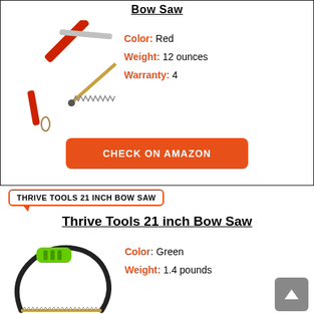Bow Saw
[Figure (photo): Red folding bow saw with triangular shape, open position, showing serrated blade]
Color: Red
Weight: 12 ounces
Warranty: 4
CHECK ON AMAZON
THRIVE TOOLS 21 INCH BOW SAW
Thrive Tools 21 inch Bow Saw
[Figure (photo): Green and black bow saw with curved frame and gold/bronze blade]
Color: Green
Weight: 1.4 pounds